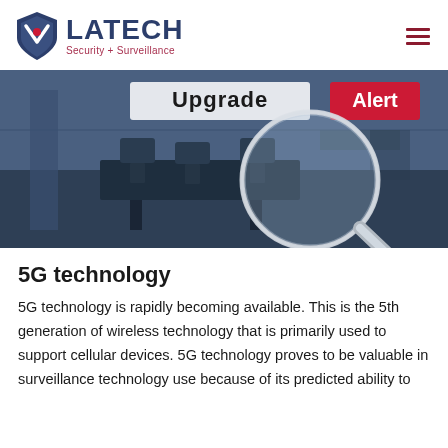LATECH Security + Surveillance
[Figure (photo): Office interior with desks and chairs viewed through a magnifying glass, with text 'Upgrade' and a red 'Alert' button visible in the background]
5G technology
5G technology is rapidly becoming available. This is the 5th generation of wireless technology that is primarily used to support cellular devices. 5G technology proves to be valuable in surveillance technology use because of its predicted ability to